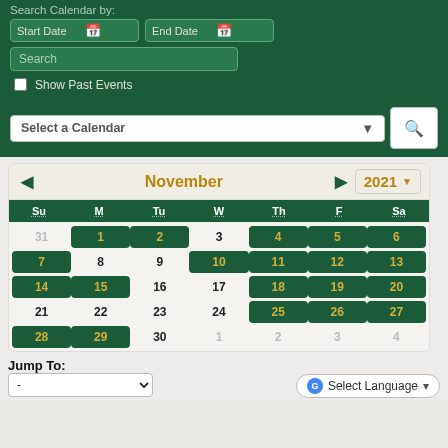Search Calendar by:
[Figure (screenshot): Calendar search UI with Start Date and End Date fields, Search text box, Show Past Events checkbox, Select a Calendar dropdown, and a search button]
[Figure (other): November 2021 calendar widget with days marked with events highlighted in dark green]
Jump To:
Select Language